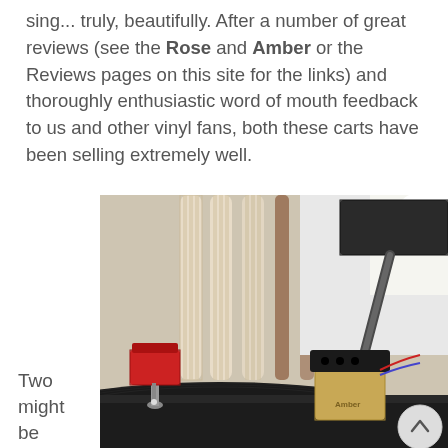sing... truly, beautifully. After a number of great reviews (see the Rose and Amber or the Reviews pages on this site for the links) and thoroughly enthusiastic word of mouth feedback to us and other vinyl fans, both these carts have been selling extremely well.
[Figure (photo): Close-up photo of two vinyl record cartridges on a turntable platter. On the left is a red cartridge (Rose) and on the right is a tan/gold colored cartridge (Amber) mounted on a tonearm. Background shows decorative wooden columns and a wall.]
Two might be two :-) much